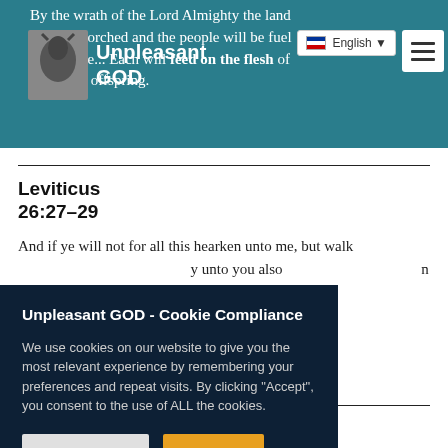By the wrath of the Lord Almighty the land will be scorched and the people will be fuel for the fire... Each will feed on the flesh of their own offspring.
[Figure (logo): Unpleasant GOD logo with animal silhouette image and text]
English ▼
Leviticus
26:27–29
And if ye will not for all this hearken unto me, but walk ... unto you also ... n times for your ...ns, and
Unpleasant GOD - Cookie Compliance
We use cookies on our website to give you the most relevant experience by remembering your preferences and repeat visits. By clicking "Accept", you consent to the use of ALL the cookies.
Look, O Lord, and see! With whom hast thou dealt